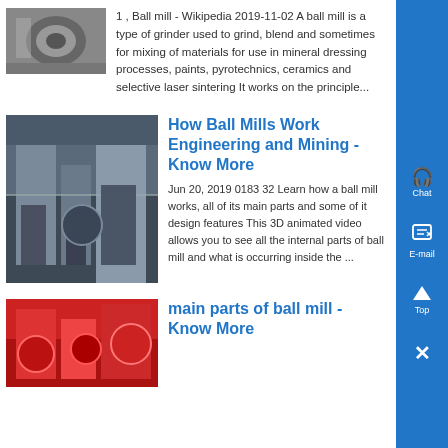[Figure (photo): Industrial machinery photo thumbnail (partial view at top)]
1 , Ball mill - Wikipedia 2019-11-02 A ball mill is a type of grinder used to grind, blend and sometimes for mixing of materials for use in mineral dressing processes, paints, pyrotechnics, ceramics and selective laser sintering It works on the principle...
[Figure (photo): Industrial ball mill facility interior photo]
How Ball Mills Work Engineering and Mining - Know More
Jun 20, 2019 0183 32 Learn how a ball mill works, all of its main parts and some of its design features This 3D animated video allows you to see all the internal parts of ball mill and what is occurring inside the ...
[Figure (photo): Ball mill parts photo (red machinery)]
main parts of ball mill - Know More